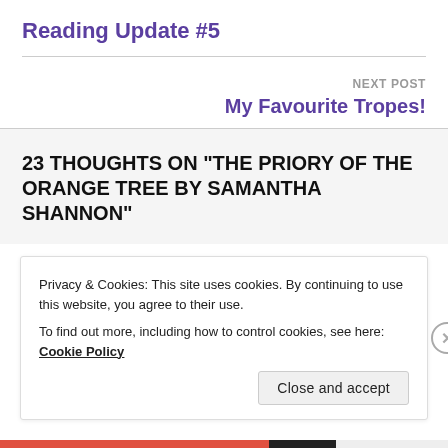Reading Update #5
NEXT POST
My Favourite Tropes!
23 THOUGHTS ON “THE PRIORY OF THE ORANGE TREE BY SAMANTHA SHANNON”
Privacy & Cookies: This site uses cookies. By continuing to use this website, you agree to their use.
To find out more, including how to control cookies, see here: Cookie Policy
Close and accept